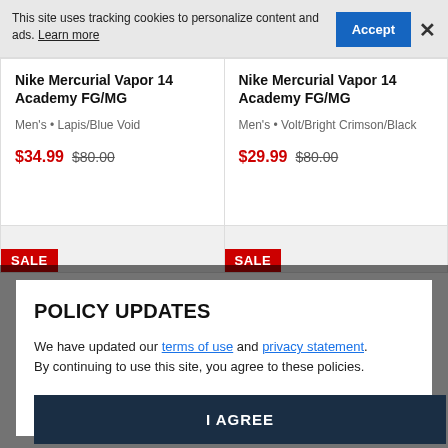This site uses tracking cookies to personalize content and ads. Learn more
Accept
×
Nike Mercurial Vapor 14 Academy FG/MG
Men's • Lapis/Blue Void
$34.99  $80.00
Nike Mercurial Vapor 14 Academy FG/MG
Men's • Volt/Bright Crimson/Black
$29.99  $80.00
SALE
SALE
POLICY UPDATES
We have updated our terms of use and privacy statement. By continuing to use this site, you agree to these policies.
I AGREE